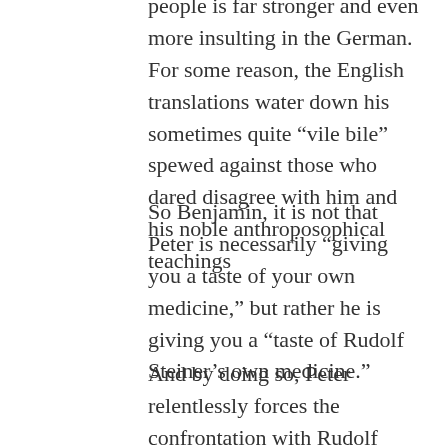people is far stronger and even more insulting in the German. For some reason, the English translations water down his sometimes quite “vile bile” spewed against those who dared disagree with him and his noble anthroposophical teachings
So Benjamin, it is not that Peter is necessarily “giving you a taste of your own medicine,” but rather he is giving you a “taste of Rudolf Steiner’s own medicine.”
And by doing so, Peter relentlessly forces the confrontation with Rudolf Steiner’s own personality, which, in its darker, weaker and thus, more human aspects, crippled the movement of anthroposophy as a